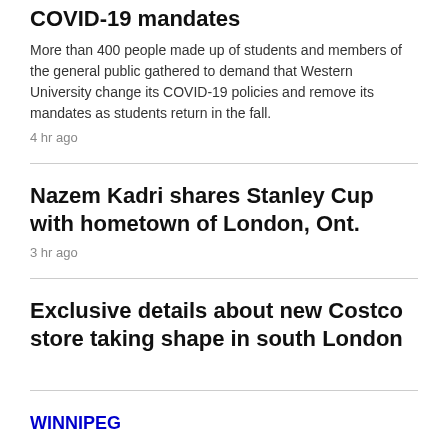COVID-19 mandates
More than 400 people made up of students and members of the general public gathered to demand that Western University change its COVID-19 policies and remove its mandates as students return in the fall.
4 hr ago
Nazem Kadri shares Stanley Cup with hometown of London, Ont.
3 hr ago
Exclusive details about new Costco store taking shape in south London
WINNIPEG